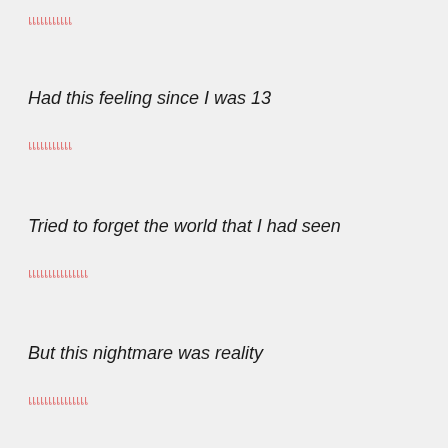เเเเเเเเเเเ
Had this feeling since I was 13
เเเเเเเเเเเ
Tried to forget the world that I had seen
เเเเเเเเเเเเเเเ
But this nightmare was reality
เเเเเเเเเเเเเเเ